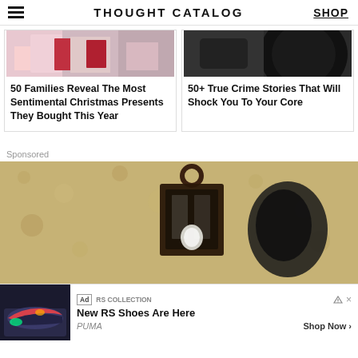THOUGHT CATALOG | SHOP
[Figure (photo): Cropped top portion of article card showing colorful clothing/Christmas presents photo]
50 Families Reveal The Most Sentimental Christmas Presents They Bought This Year
[Figure (photo): Cropped top portion of article card showing dark/black photo related to true crime]
50+ True Crime Stories That Will Shock You To Your Core
Sponsored
[Figure (photo): Sponsored content image showing a dark lantern on a textured stucco wall]
[Figure (screenshot): Ad bar: RS Collection - New RS Shoes Are Here by PUMA, Shop Now]